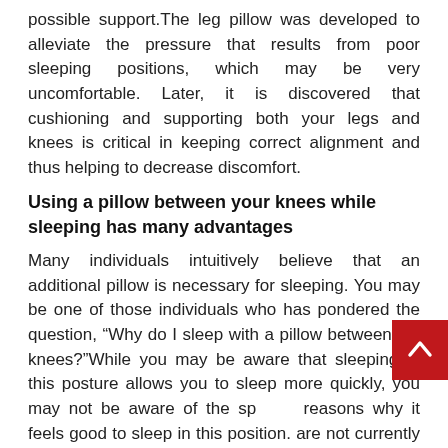possible support.The leg pillow was developed to alleviate the pressure that results from poor sleeping positions, which may be very uncomfortable. Later, it is discovered that cushioning and supporting both your legs and knees is critical in keeping correct alignment and thus helping to decrease discomfort.
Using a pillow between your knees while sleeping has many advantages
Many individuals intuitively believe that an additional pillow is necessary for sleeping. You may be one of those individuals who has pondered the question, “Why do I sleep with a pillow between my knees?”While you may be aware that sleeping in this posture allows you to sleep more quickly, you may not be aware of the specific reasons why it feels good to sleep in this position. are not currently using a knee pillow when sleeping, you may want to consider doing so after learning about the